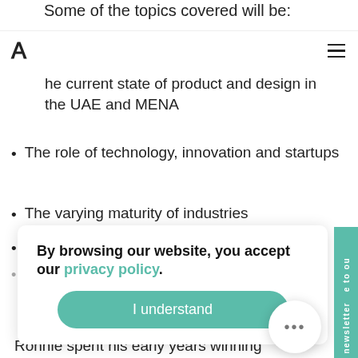Some of the topics covered will be:
he current state of product and design in the UAE and MENA
The role of technology, innovation and startups
The varying maturity of industries
The expectations of speed
Predictions for the future
By browsing our website, you accept our privacy policy.
I understand
Ronnie spent his early years winning